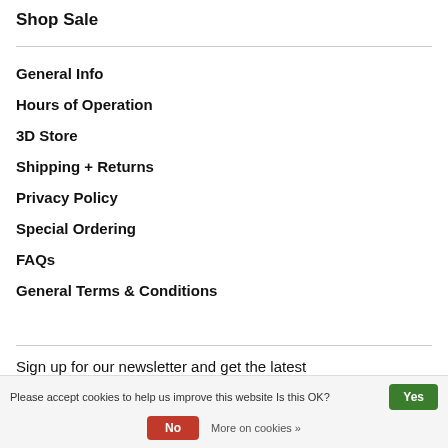Shop Sale
General Info
Hours of Operation
3D Store
Shipping + Returns
Privacy Policy
Special Ordering
FAQs
General Terms & Conditions
Sign up for our newsletter and get the latest
Please accept cookies to help us improve this website Is this OK? Yes No More on cookies »